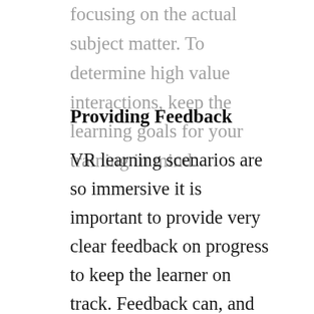focusing on the actual subject matter. To determine high value interactions, keep the learning goals for your training in mind.
Providing Feedback
VR learning scenarios are so immersive it is important to provide very clear feedback on progress to keep the learner on track. Feedback can, and should, come in many forms in a VR learning scenario. You have access to more of the learner's senses when implementing the training, so when the learner completes a step,